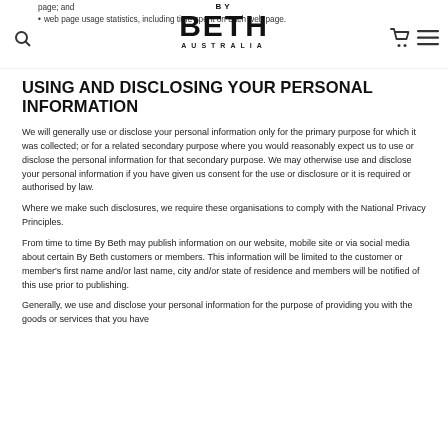BY BETH AUSTRALIA
page; and web page usage statistics, including time spent on each web page.
USING AND DISCLOSING YOUR PERSONAL INFORMATION
We will generally use or disclose your personal information only for the primary purpose for which it was collected; or for a related secondary purpose where you would reasonably expect us to use or disclose the personal information for that secondary purpose. We may otherwise use and disclose your personal information if you have given us consent for the use or disclosure or it is required or authorised by law.
Where we make such disclosures, we require these organisations to comply with the National Privacy Principles.
From time to time By Beth may publish information on our website, mobile site or via social media about certain By Beth customers or members. This information will be limited to the customer or member's first name and/or last name, city and/or state of residence and members will be notified of this use prior to publishing.
Generally, we use and disclose your personal information for the purpose of providing you with the goods or services that you have